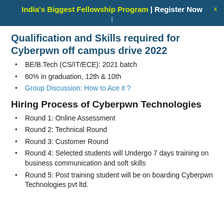India's Biggest Fellowship Program | Register Now
Qualification and Skills required for Cyberpwn off campus drive 2022
BE/B.Tech (CS/IT/ECE): 2021 batch
60% in graduation, 12th & 10th
Group Discussion: How to Ace it ?
Hiring Process of Cyberpwn Technologies
Round 1: Online Assessment
Round 2: Technical Round
Round 3: Customer Round
Round 4: Selected students will Undergo 7 days training on business communication and soft skills
Round 5: Post training student will be on boarding Cyberpwn Technologies pvt ltd.